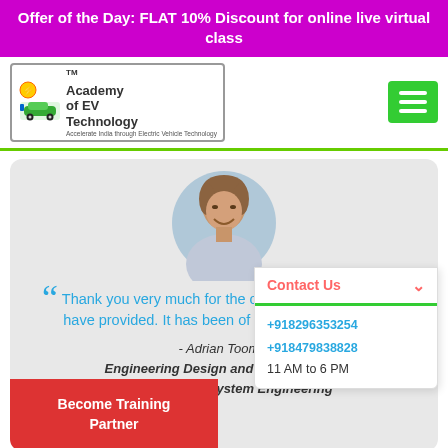Offer of the Day: FLAT 10% Discount for online live virtual class
[Figure (logo): Academy of EV Technology (AEVT) logo with electric vehicle icon]
[Figure (photo): Headshot photo of Adrian Tooms, a man smiling]
Thank you very much for the opportunity you at AEVT have provided. It has been of grate usefulness.
- Adrian Tooms, Engineering Design and Project Manager, Thyssenkrupp System Engineering
Contact Us
+918296353254
+918479838828
11 AM to 6 PM
Become Training Partner